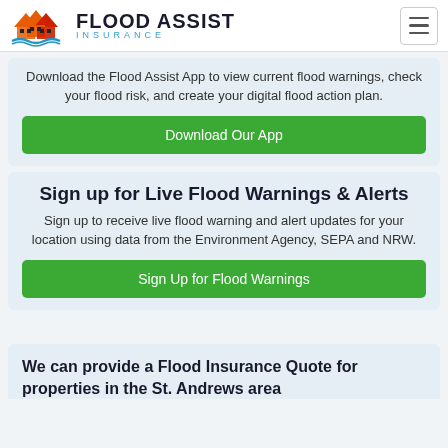[Figure (logo): Flood Assist Insurance logo with house icon and orange/red roof design]
Download the Flood Assist App to view current flood warnings, check your flood risk, and create your digital flood action plan.
Download Our App
Sign up for Live Flood Warnings & Alerts
Sign up to receive live flood warning and alert updates for your location using data from the Environment Agency, SEPA and NRW.
Sign Up for Flood Warnings
We can provide a Flood Insurance Quote for properties in the St. Andrews area